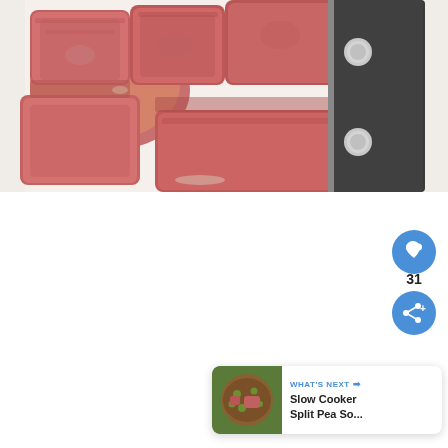[Figure (photo): Close-up photo of cubed cooked meat (ham or beef) on a white cutting board, with a large chef's knife visible on the right side of the image.]
[Figure (infographic): Social media UI overlay showing: a blue circular heart/like button with count '31', and a blue circular share button with a share icon. Also a 'WHAT'S NEXT' card in the bottom right showing a thumbnail and text 'Slow Cooker Split Pea So...'.]